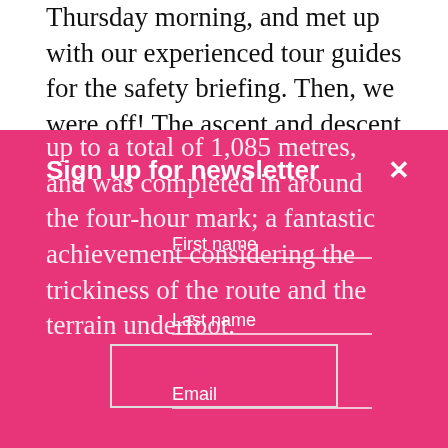Thursday morning, and met up with our experienced tour guides for the safety briefing. Then, we were off! The ascent and descent came
up to a total of 1,085 metres, and was completed in around the four-hour mark; a fantastic achievement considering the trickiness of the route and the terrain underfoot.
Sign up for newsletter
First name
Last name
Email
SEND
After a celebratory ice-cream and reapplying of plasters and suncream heat, we boarded the party buses for the drive up to the Lake District. Upon arrival, we were again met by our tour guides for the safety briefing, before hightailing it up Scafell Pike for the 978 metre ascent and descent, again in a four-hour time which is no mean feat on that tricky terrain.
Having poured ourselves onto the party buses, we drove to our hotel for the night. The calorie count for the meal that night was off the scale, and the